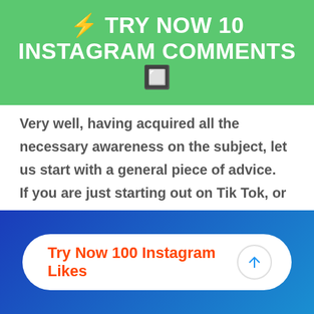⚡ TRY NOW 10 INSTAGRAM COMMENTS 🔲
Very well, having acquired all the necessary awareness on the subject, let us start with a general piece of advice. If you are just starting out on Tik Tok, or if you have not been there for very long, consider the user as a
[Figure (other): Blue gradient footer banner with a white pill-shaped CTA button reading 'Try Now 100 Instagram Likes' in orange, with a blue upward arrow circle on the right]